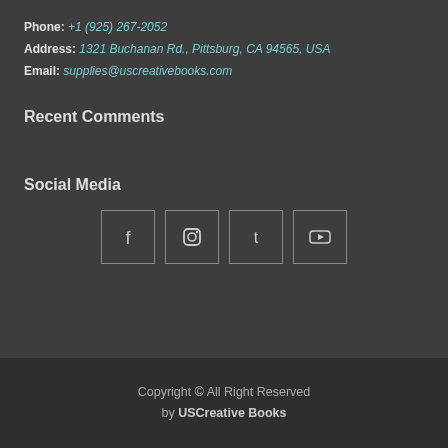Phone: +1 (925) 267-2052
Address: 1321 Buchanan Rd., Pittsburg, CA 94565, USA
Email: supplies@uscreativebooks.com
Recent Comments
Social Media
[Figure (infographic): Four social media icon boxes: Facebook, Instagram, Twitter, YouTube]
Copyright © All Right Reserved by USCreative Books